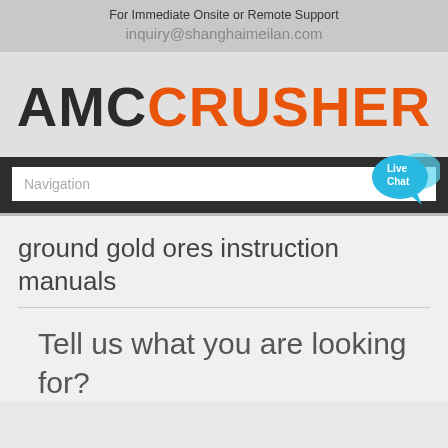For Immediate Onsite or Remote Support
inquiry@shanghaimeilan.com
[Figure (logo): AMC CRUSHER logo with AMC in dark/black and CRUSHER in orange]
[Figure (screenshot): Navigation bar with search input field and Live Chat bubble in cyan/blue]
ground gold ores instruction manuals
Tell us what you are looking for?